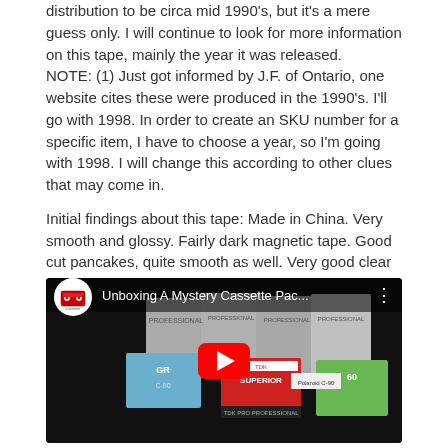distribution to be circa mid 1990's, but it's a mere guess only. I will continue to look for more information on this tape, mainly the year it was released.
NOTE: (1) Just got informed by J.F. of Ontario, one website cites these were produced in the 1990's. I'll go with 1998. In order to create an SKU number for a specific item, I have to choose a year, so I'm going with 1998. I will change this according to other clues that may come in.
Initial findings about this tape: Made in China. Very smooth and glossy. Fairly dark magnetic tape. Good cut pancakes, quite smooth as well. Very good clear shell with screws. A very common black slip sheet, with white hubs and red securing clips. There are many visible signs of quality and now several feedback are swearing by its performance.
[Figure (screenshot): YouTube video thumbnail showing 'Unboxing A Mystery Cassette Pac...' with a cassette tape logo icon and various cassette tapes visible in the thumbnail background. A red YouTube play button is centered on the thumbnail.]